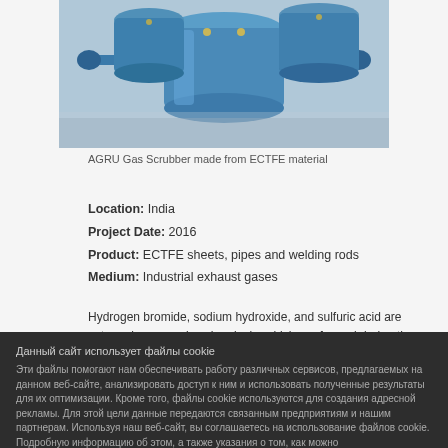[Figure (photo): Blue AGRU Gas Scrubber vessels made from ECTFE material, multiple cylindrical units photographed on ground]
AGRU Gas Scrubber made from ECTFE material
Location: India
Project Date: 2016
Product: ECTFE sheets, pipes and welding rods
Medium: Industrial exhaust gases
Hydrogen bromide, sodium hydroxide, and sulfuric acid are extremely aggressive chemicals, which are formed during the condensation of certain industrial exhaust gases. AGRU delivered semifinished products made from the partially fluorinated and thus highly resistant
Данный сайт использует файлы cookie
Эти файлы помогают нам обеспечивать работу различных сервисов, предлагаемых на данном веб-сайте, анализировать доступ к ним и использовать полученные результаты для их оптимизации. Кроме того, файлы cookie используются для создания адресной рекламы. Для этой цели данные передаются связанным предприятиям и нашим партнерам. Используя наш веб-сайт, вы соглашаетесь на использование файлов cookie. Подробную информацию об этом, а также указания о том, как можно